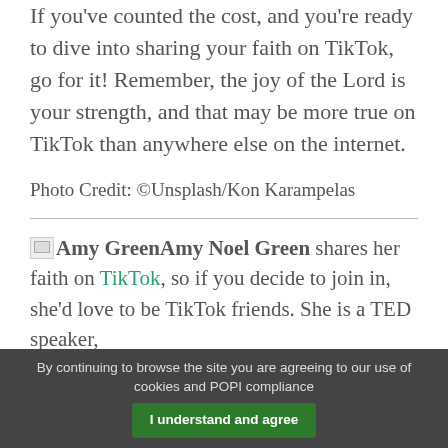If you've counted the cost, and you're ready to dive into sharing your faith on TikTok, go for it! Remember, the joy of the Lord is your strength, and that may be more true on TikTok than anywhere else on the internet.
Photo Credit: ©Unsplash/Kon Karampelas
Amy Noel Green shares her faith on TikTok, so if you decide to join in, she'd love to be TikTok friends. She is a TED speaker,
By continuing to browse the site you are agreeing to our use of cookies and POPI compliance   I understand and agree